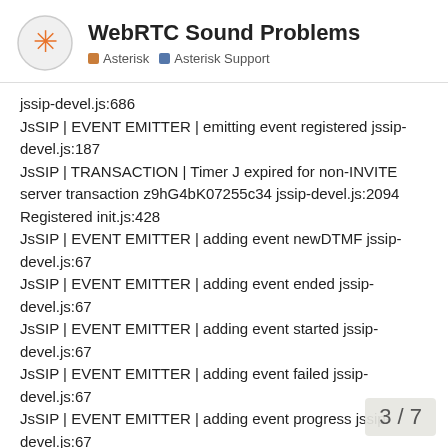WebRTC Sound Problems | Asterisk | Asterisk Support
jssip-devel.js:686
JsSIP | EVENT EMITTER | emitting event registered jssip-devel.js:187
JsSIP | TRANSACTION | Timer J expired for non-INVITE server transaction z9hG4bK07255c34 jssip-devel.js:2094
Registered init.js:428
JsSIP | EVENT EMITTER | adding event newDTMF jssip-devel.js:67
JsSIP | EVENT EMITTER | adding event ended jssip-devel.js:67
JsSIP | EVENT EMITTER | adding event started jssip-devel.js:67
JsSIP | EVENT EMITTER | adding event failed jssip-devel.js:67
JsSIP | EVENT EMITTER | adding event progress jssip-devel.js:67
JsSIP | EVENT EMITTER | emitting event jssip-devel.js:187
3 / 7